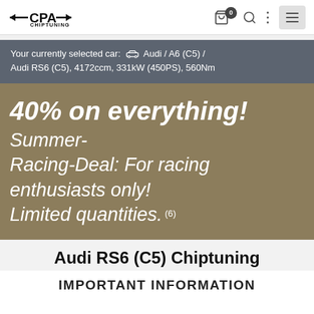CPA Chiptuning — Navigation header with cart (0), search, more, and menu icons
Your currently selected car: 🚗 Audi / A6 (C5) / Audi RS6 (C5), 4172ccm, 331kW (450PS), 560Nm
40% on everything! Summer-Racing-Deal: For racing enthusiasts only! Limited quantities. (6)
Audi RS6 (C5) Chiptuning
IMPORTANT INFORMATION